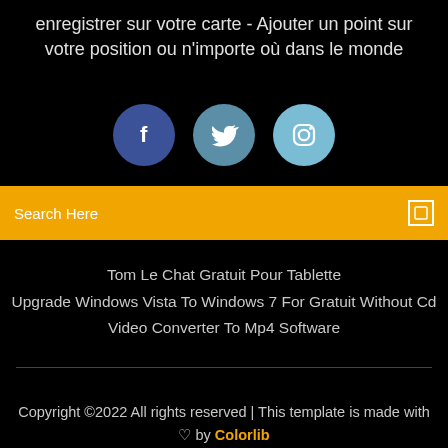enregistrer sur votre carte - Ajouter un point sur votre position ou n'importe où dans le monde
[Figure (illustration): Three social media icon circles: Facebook (dark blue), Twitter (medium blue), Instagram (light blue)]
Search Here
Tom Le Chat Gratuit Pour Tablette
Upgrade Windows Vista To Windows 7 For Gratuit Without Cd
Video Converter To Mp4 Software
Copyright ©2022 All rights reserved | This template is made with ♡ by Colorlib